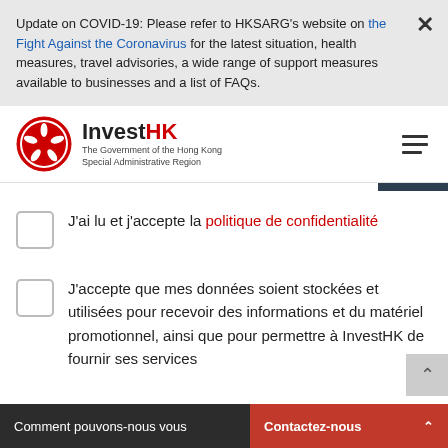Update on COVID-19: Please refer to HKSARG's website on the Fight Against the Coronavirus for the latest situation, health measures, travel advisories, a wide range of support measures available to businesses and a list of FAQs.
[Figure (logo): InvestHK logo - The Government of the Hong Kong Special Administrative Region]
J'ai lu et j'accepte la politique de confidentialité
J'accepte que mes données soient stockées et utilisées pour recevoir des informations et du matériel promotionnel, ainsi que pour permettre à InvestHK de fournir ses services
Envoyer
Comment pouvons-nous vous   Contactez-nous